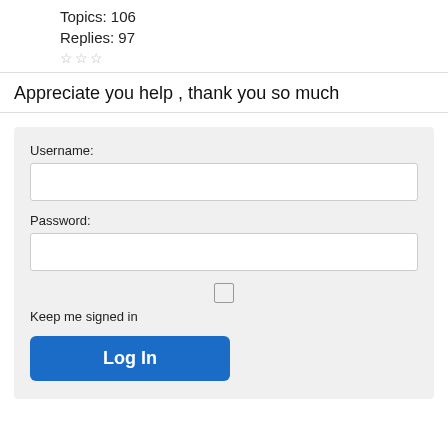Topics: 106
Replies: 97
☆☆☆
Appreciate you help , thank you so much
[Figure (screenshot): Login form with Username field, Password field, Keep me signed in checkbox, and Log In button on a light grey background]
Username:
Password:
Keep me signed in